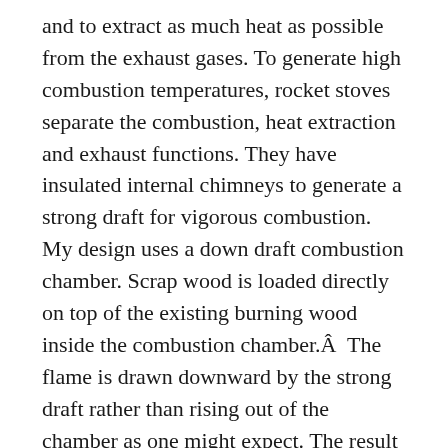and to extract as much heat as possible from the exhaust gases. To generate high combustion temperatures, rocket stoves separate the combustion, heat extraction and exhaust functions. They have insulated internal chimneys to generate a strong draft for vigorous combustion. My design uses a down draft combustion chamber. Scrap wood is loaded directly on top of the existing burning wood inside the combustion chamber.Â  The flame is drawn downward by the strong draft rather than rising out of the chamber as one might expect. The result is that ALL combustion products pass through the hottest part of the fire resulting in very complete combustion, producing the greatest amount of heat and reducing products of incomplete combustion such as carbon monoxide and smoke. To capture as much of the heat as possible and radiate it into the room, the exhaust gases are passed through a secondary chamber (much larger than the